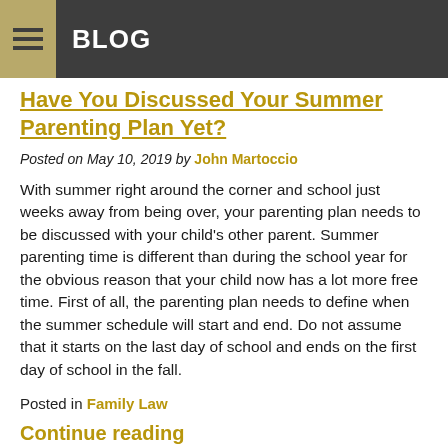BLOG
Have You Discussed Your Summer Parenting Plan Yet?
Posted on May 10, 2019 by John Martoccio
With summer right around the corner and school just weeks away from being over, your parenting plan needs to be discussed with your child's other parent. Summer parenting time is different than during the school year for the obvious reason that your child now has a lot more free time. First of all, the parenting plan needs to define when the summer schedule will start and end. Do not assume that it starts on the last day of school and ends on the first day of school in the fall.
Posted in Family Law
Continue reading